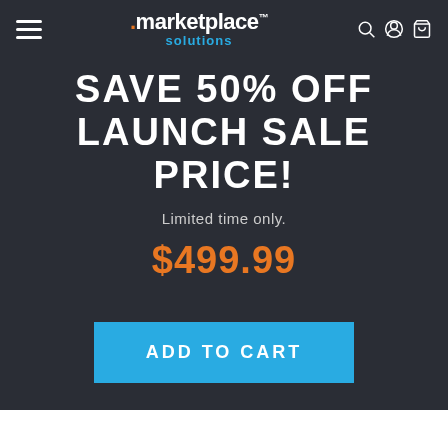marketplace solutions
SAVE 50% OFF LAUNCH SALE PRICE!
Limited time only.
$499.99
ADD TO CART
90 DAY MONEY BACK GUARANTEE | 100% CUSTOMER SATISFACTION